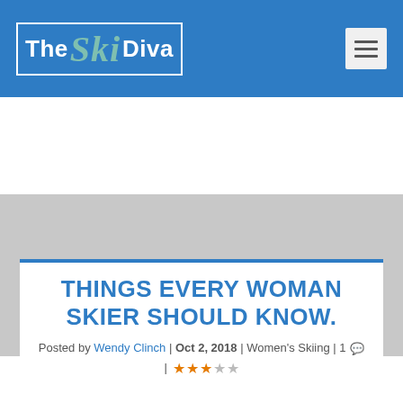The Ski Diva
[Figure (other): Gray advertisement placeholder area]
THINGS EVERY WOMAN SKIER SHOULD KNOW.
Posted by Wendy Clinch | Oct 2, 2018 | Women's Skiing | 1 💬 | ★★★☆☆